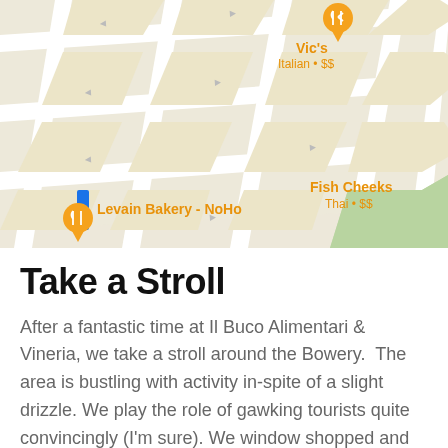[Figure (map): Google Maps screenshot showing the Bowery neighborhood in New York City. Visible landmarks include Vic's Italian $$, Phebe's, The Wren, Levain Bakery - NoHo, The Bowery (hotel pin in pink), Fish Cheeks Thai $$, and street labels including Bowery, E 4th St, E 3rd St, E 2nd St. Orange restaurant/bar pins and a pink hotel pin are displayed on a beige street map.]
Take a Stroll
After a fantastic time at Il Buco Alimentari & Vineria, we take a stroll around the Bowery.  The area is bustling with activity in-spite of a slight drizzle. We play the role of gawking tourists quite convincingly (I'm sure). We window shopped and people watched our way to the nearest subway station for a quick ride back to our hotel to make it an early night after a very